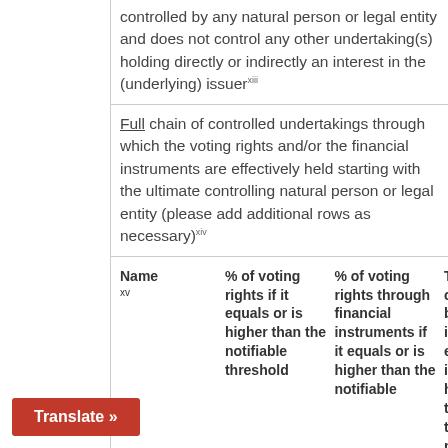controlled by any natural person or legal entity and does not control any other undertaking(s) holding directly or indirectly an interest in the (underlying) issuer xiii
Full chain of controlled undertakings through which the voting rights and/or the financial instruments are effectively held starting with the ultimate controlling natural person or legal entity (please add additional rows as necessary) xiv
| Name xv | % of voting rights if it equals or is higher than the notifiable threshold | % of voting rights through financial instruments if it equals or is higher than the notifiable | Total of both if equals or is higher than the notifiable thresh |
| --- | --- | --- | --- |